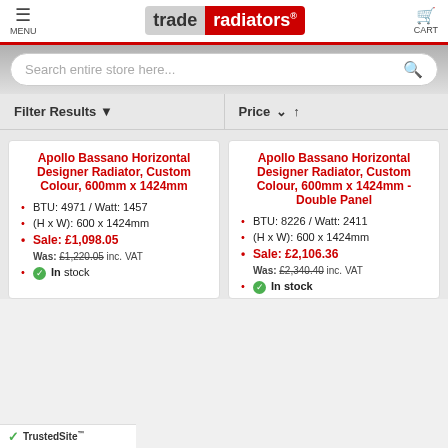trade radiators — MENU | CART
Search entire store here...
Filter Results ▼   Price ∨ ↑
Apollo Bassano Horizontal Designer Radiator, Custom Colour, 600mm x 1424mm
BTU: 4971 / Watt: 1457
(H x W): 600 x 1424mm
Sale: £1,098.05
Was: £1,220.05 inc. VAT
In stock
Apollo Bassano Horizontal Designer Radiator, Custom Colour, 600mm x 1424mm - Double Panel
BTU: 8226 / Watt: 2411
(H x W): 600 x 1424mm
Sale: £2,106.36
Was: £2,340.40 inc. VAT
In stock
TrustedSite